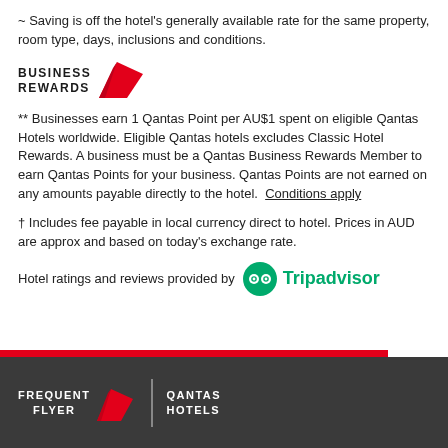~ Saving is off the hotel's generally available rate for the same property, room type, days, inclusions and conditions.
[Figure (logo): Qantas Business Rewards logo with kangaroo tail icon]
** Businesses earn 1 Qantas Point per AU$1 spent on eligible Qantas Hotels worldwide. Eligible Qantas hotels excludes Classic Hotel Rewards. A business must be a Qantas Business Rewards Member to earn Qantas Points for your business. Qantas Points are not earned on any amounts payable directly to the hotel. Conditions apply
† Includes fee payable in local currency direct to hotel. Prices in AUD are approx and based on today's exchange rate.
Hotel ratings and reviews provided by Tripadvisor
[Figure (logo): Qantas Frequent Flyer | Qantas Hotels footer logo]